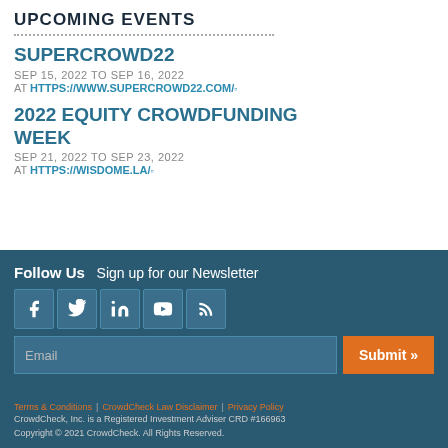UPCOMING EVENTS
SUPERCROWD22
SEP 15, 2022 TO SEP 16, 2022
AT HTTPS://WWW.SUPERCROWD22.COM/
2022 EQUITY CROWDFUNDING WEEK
SEP 21, 2022 TO SEP 23, 2022
AT HTTPS://WISDOME.LA/
Follow Us   Sign up for our Newsletter
Email  Submit
Terms & Conditions | CrowdCheck Law Disclaimer | Privacy Policy
CrowdCheck, Inc. is a Registered Investment Adviser CRD #166963
Copyright © 2021 CrowdCheck. All Rights Reserved.